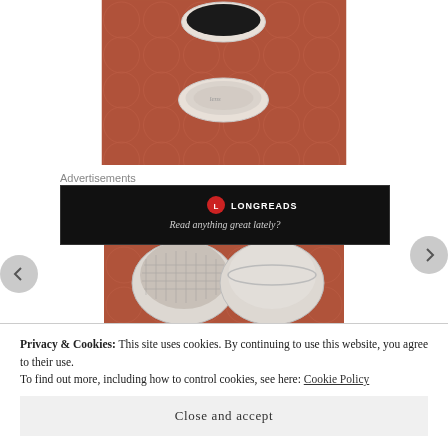[Figure (photo): Top-down view of two small white ceramic/plastic bowls on a terracotta-red patterned background with circle motifs. One bowl contains dark (black) contents, the other appears empty or has a glass/lens element.]
Advertisements
[Figure (screenshot): Advertisement banner for Longreads with red logo icon, text 'LONGREADS' and 'Read anything great lately?' on a black background.]
[Figure (photo): Two small white cylindrical containers/jars on a terracotta-red patterned background. One has a mesh/grid textured lid visible, the other is open.]
Privacy & Cookies: This site uses cookies. By continuing to use this website, you agree to their use.
To find out more, including how to control cookies, see here: Cookie Policy
Close and accept